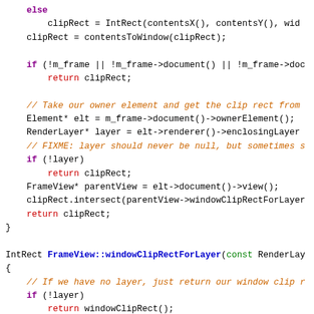[Figure (screenshot): Source code snippet showing C++ functions FrameView::clipRectForLayer and FrameView::windowClipRectForLayer with syntax highlighting: purple keywords, blue function names, orange italic comments, green const keyword, red return keyword.]